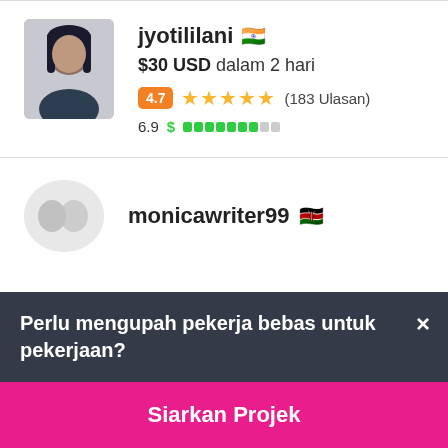[Figure (photo): Profile photo of jyotililani, a woman with dark hair against a dark background]
jyotililani 🇮🇳
$30 USD dalam 2 hari
4.7 ★★★★★ (183 Ulasan)
6.9 $ ████████░░░
[Figure (photo): Blurred/abstract profile image for monicawriter99]
monicawriter99 🇰🇪
Perlu mengupah pekerja bebas untuk pekerjaan?
Siarkan Projek